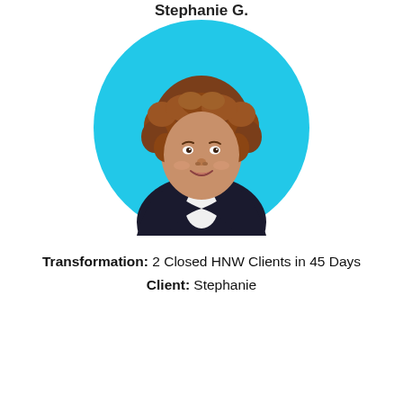Stephanie G.
[Figure (photo): Circular headshot photo of a woman named Stephanie with curly auburn hair, wearing a dark navy blazer over a white top, smiling, against a bright cyan/turquoise background.]
Transformation: 2 Closed HNW Clients in 45 Days
Client: Stephanie